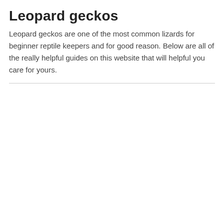Leopard geckos
Leopard geckos are one of the most common lizards for beginner reptile keepers and for good reason. Below are all of the really helpful guides on this website that will helpful you care for yours.